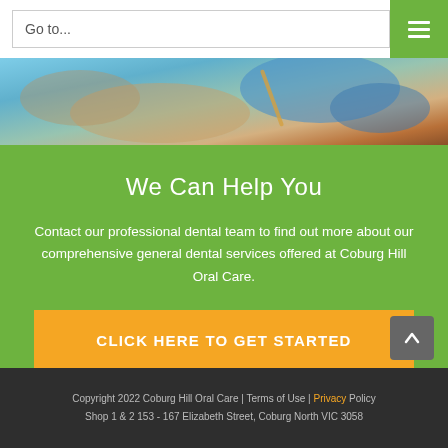Go to...
[Figure (photo): A dental professional wearing blue gloves performing a dental procedure, close-up photograph]
We Can Help You
Contact our professional dental team to find out more about our comprehensive general dental services offered at Coburg Hill Oral Care.
CLICK HERE TO GET STARTED
Copyright 2022 Coburg Hill Oral Care | Terms of Use | Privacy Policy
Shop 1 & 2 153 - 167 Elizabeth Street, Coburg North VIC 3058